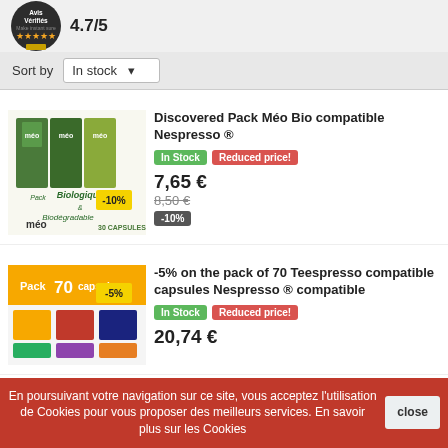[Figure (logo): Avis Vérifiés badge logo with 4.7/5 rating]
Sort by   In stock ▾
Discovered Pack Méo Bio compatible Nespresso ®
In Stock   Reduced price!
7,65 €
8,50 €
-10%
-5% on the pack of 70 Teespresso compatible capsules Nespresso ® compatible
In Stock   Reduced price!
20,74 €
En poursuivant votre navigation sur ce site, vous acceptez l'utilisation de Cookies pour vous proposer des meilleurs services. En savoir plus sur les Cookies